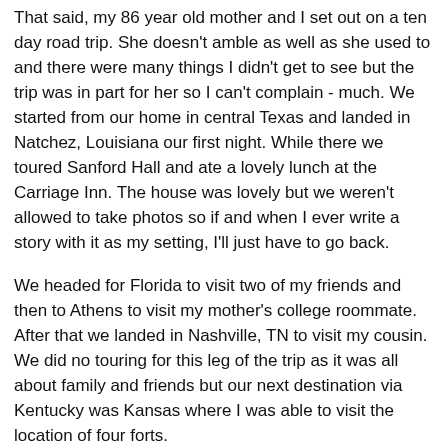That said, my 86 year old mother and I set out on a ten day road trip. She doesn't amble as well as she used to and there were many things I didn't get to see but the trip was in part for her so I can't complain - much. We started from our home in central Texas and landed in Natchez, Louisiana our first night. While there we toured Sanford Hall and ate a lovely lunch at the Carriage Inn. The house was lovely but we weren't allowed to take photos so if and when I ever write a story with it as my setting, I'll just have to go back.
We headed for Florida to visit two of my friends and then to Athens to visit my mother's college roommate. After that we landed in Nashville, TN to visit my cousin. We did no touring for this leg of the trip as it was all about family and friends but our next destination via Kentucky was Kansas where I was able to visit the location of four forts.
[Figure (photo): Outdoor photo of Fort Hays: a large grassy field with a white fence, several brick/stone buildings in the background, a flag on a flagpole, and an old wooden wagon/carriage in the foreground on the grass.]
We toured Fort Hays first which is where a good deal of my current story takes place. Already I have to